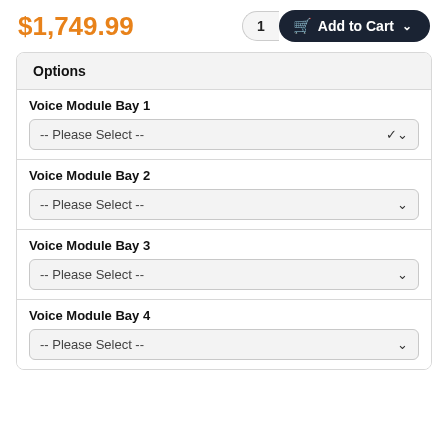$1,749.99
1  Add to Cart
Options
Voice Module Bay 1
-- Please Select --
Voice Module Bay 2
-- Please Select --
Voice Module Bay 3
-- Please Select --
Voice Module Bay 4
-- Please Select --